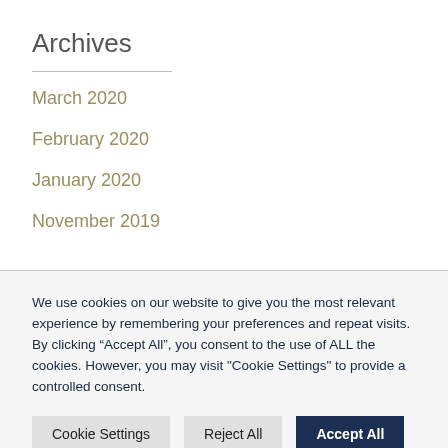Archives
March 2020
February 2020
January 2020
November 2019
We use cookies on our website to give you the most relevant experience by remembering your preferences and repeat visits. By clicking “Accept All”, you consent to the use of ALL the cookies. However, you may visit "Cookie Settings" to provide a controlled consent.